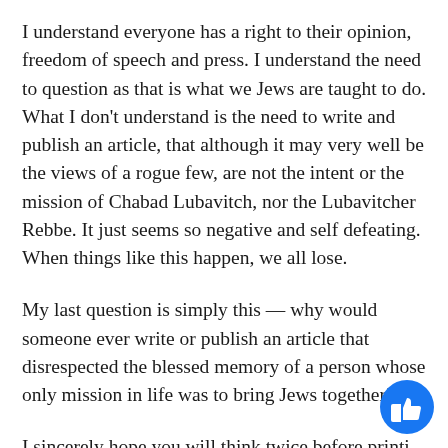I understand everyone has a right to their opinion, freedom of speech and press. I understand the need to question as that is what we Jews are taught to do. What I don't understand is the need to write and publish an article, that although it may very well be the views of a rogue few, are not the intent or the mission of Chabad Lubavitch, nor the Lubavitcher Rebbe. It just seems so negative and self defeating. When things like this happen, we all lose.
My last question is simply this — why would someone ever write or publish an article that disrespected the blessed memory of a person whose only mission in life was to bring Jews together?
I sincerely hope you will think twice before printi